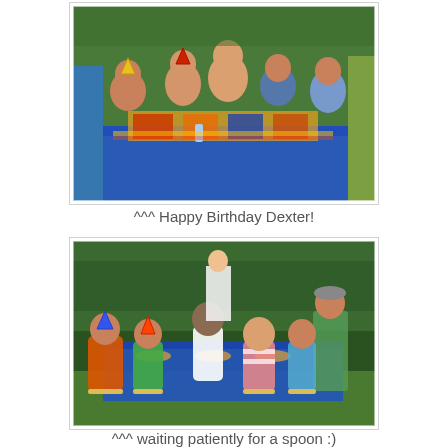[Figure (photo): Children sitting at a birthday party table outdoors with colorful decorations and party hats, blue tablecloth with superhero/cartoon theme]
^^^ Happy Birthday Dexter!
[Figure (photo): Children sitting at a long outdoor birthday party table with blue tablecloth, party hats, green hedge background]
^^^ waiting patiently for a spoon :)
[Figure (photo): Bottom portion of another birthday party photo showing party hats]